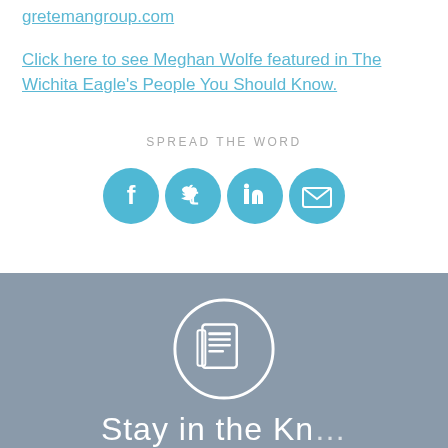gretemangroup.com
Click here to see Meghan Wolfe featured in The Wichita Eagle's People You Should Know.
SPREAD THE WORD
[Figure (infographic): Four circular social share icons: Facebook, Twitter, LinkedIn, Email (envelope). All in teal/blue color.]
[Figure (infographic): Gray background section with a white circle containing a newspaper/document icon.]
Stay in the Kn...